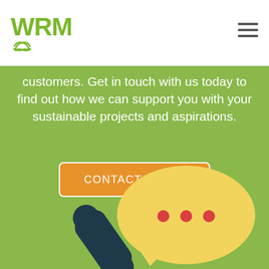[Figure (logo): WRM logo with green text and recycling arrow icon below]
customers. Get in touch with us today to find out how we can support you with your sustainable projects and aspirations.
CONTACT US →
[Figure (illustration): Illustration of a telephone handset and a yellow speech bubble with three red dots on a green background]